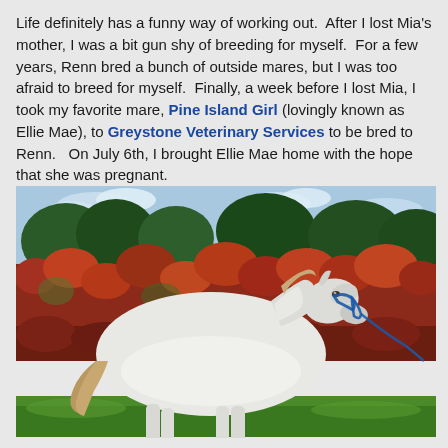Life definitely has a funny way of working out.  After I lost Mia's mother, I was a bit gun shy of breeding for myself.  For a few years, Renn bred a bunch of outside mares, but I was too afraid to breed for myself.  Finally, a week before I lost Mia, I took my favorite mare, Pine Island Girl (lovingly known as Ellie Mae), to Greystone Veterinary Services to be bred to Renn.   On July 6th, I brought Ellie Mae home with the hope that she was pregnant.
[Figure (photo): A white horse standing in profile on green grass, facing right, with a blue halter, in front of a dense hedge of red and green tropical foliage with trees in the background under a partly cloudy sky.]